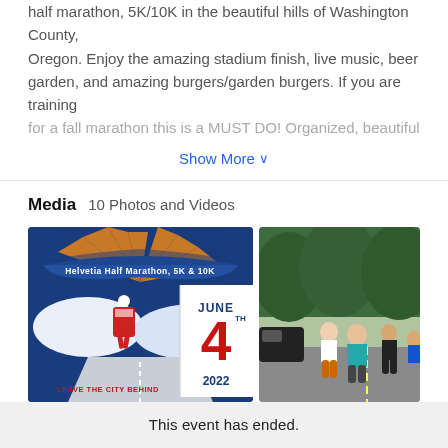Leave the city behind. Come run or walk this award winning half marathon, 5K/10K in the beautiful hills of Washington County, Oregon. Enjoy the amazing stadium finish, live music, beer garden, and amazing burgers/garden burgers. If you are training for a fall marathon this is a MUST DO! Organized, beautiful
Show More ˅
Media   10 Photos and Videos
[Figure (logo): Helvetia Half Marathon, 5K & 10K event logo with JUNE 4TH 2022 date and 'Leave the City Behind' tagline on blue background]
[Figure (photo): Runners on road during Helvetia Half Marathon race, with green trees in background]
This event has ended.